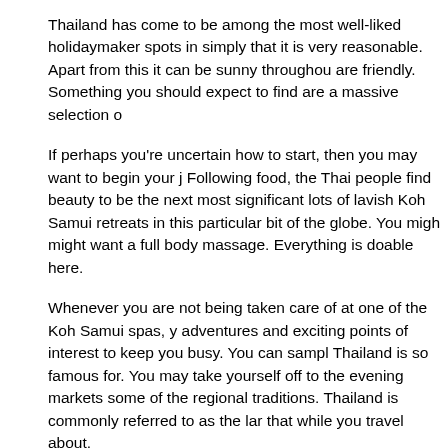Thailand has come to be among the most well-liked holidaymaker spots in simply that it is very reasonable. Apart from this it can be sunny throughout are friendly. Something you should expect to find are a massive selection o
If perhaps you're uncertain how to start, then you may want to begin your j Following food, the Thai people find beauty to be the next most significant lots of lavish Koh Samui retreats in this particular bit of the globe. You migh might want a full body massage. Everything is doable here.
Whenever you are not being taken care of at one of the Koh Samui spas, y adventures and exciting points of interest to keep you busy. You can sampl Thailand is so famous for. You may take yourself off to the evening markets some of the regional traditions. Thailand is commonly referred to as the lar that while you travel about.
Since the area is so cheap, you can find an incredible spot to stay in which and more. Most of the villas include a swimming pool, looking over the oce night time. It is the ideal spot to have sundowners. These might not be the resorts that you might get lost in. They are generally smaller villas that hap service. This really is a vacation which denotes luxury at its best.
It's just one hours flight journey from Bangkok, which makes it a handy sto staying should pick you up from the airport, guaranteeing you're getting the start. When you're choosing a location to stay, make certain you choose so requirements.